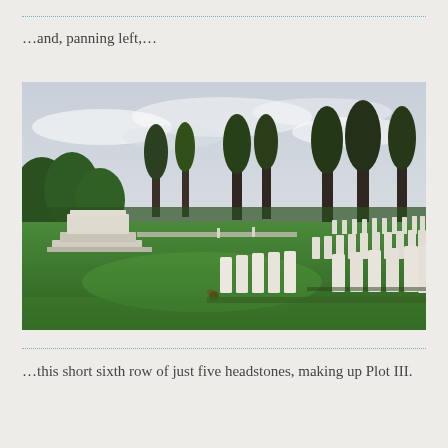…and, panning left,…
[Figure (photo): A military cemetery with rows of white headstones on a green lawn. On the left is a large stone memorial block. Trees line the background under a cloudy sky.]
…this short sixth row of just five headstones, making up Plot III.